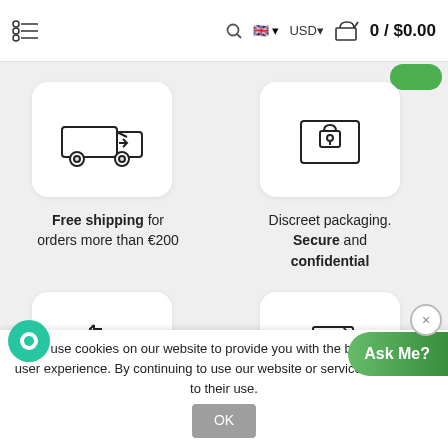Menu | Search | UK flag | USD | Cart 0 / $0.00
[Figure (screenshot): E-commerce website showing four feature icons in a 2x2 grid: truck/free shipping, lock/secure packaging, money-back, no prescription required. Cookie consent bar at bottom. Ask Me chat widget.]
Free shipping for orders more than €200
Discreet packaging. Secure and confidential
100% moneyback guarantee
No prescription required
We use cookies on our website to provide you with the best possible user experience. By continuing to use our website or services, you agree to their use.